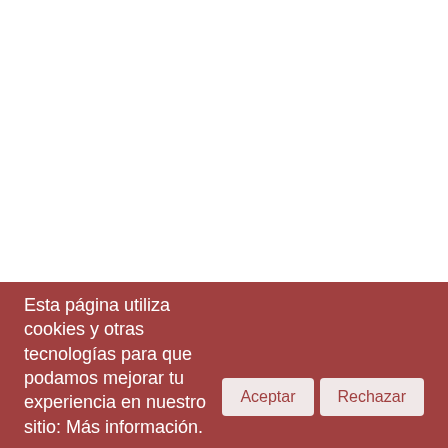Esta página utiliza cookies y otras tecnologías para que podamos mejorar tu experiencia en nuestro sitio: Más información.